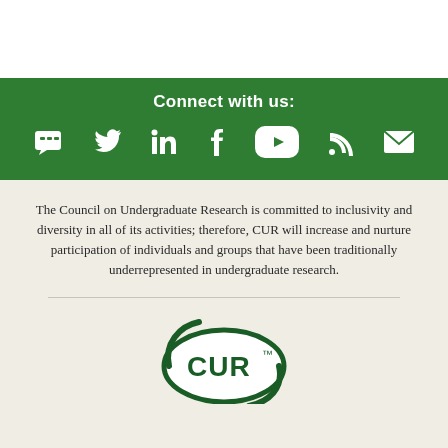[Figure (infographic): Green banner with 'Connect with us:' heading and social media icons: chat/CUR forum, Twitter, LinkedIn, Facebook, YouTube, RSS feed, email]
The Council on Undergraduate Research is committed to inclusivity and diversity in all of its activities; therefore, CUR will increase and nurture participation of individuals and groups that have been traditionally underrepresented in undergraduate research.
[Figure (logo): CUR logo — oval shape with CUR text and trademark symbol]